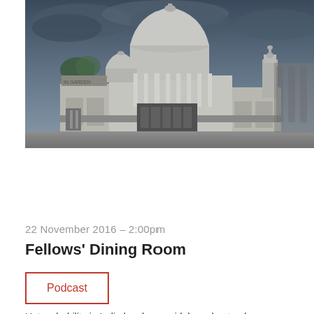[Figure (photo): HDR photograph of a grand neo-classical stone building with a large central dome, smaller flanking domes, columns, iron gates and fence, under a dramatic stormy grey-blue sky. Some green trees visible in background on the left.]
22 November 2016 – 2:00pm
Fellows' Dining Room
Podcast
Untouchability in India has been widely understood as